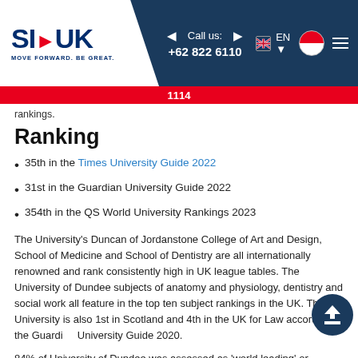SI-UK | MOVE FORWARD. BE GREAT. | Call us: +62 822 6110 1114 | EN
rankings.
Ranking
35th in the Times University Guide 2022
31st in the Guardian University Guide 2022
354th in the QS World University Rankings 2023
The University's Duncan of Jordanstone College of Art and Design, School of Medicine and School of Dentistry are all internationally renowned and rank consistently high in UK league tables. The University of Dundee subjects of anatomy and physiology, dentistry and social work all feature in the top ten subject rankings in the UK. The University is also 1st in Scotland and 4th in the UK for Law according to the Guardian University Guide 2020.
84% of University of Dundee was assessed as 'world leading' or 'internationally excellent' in the REF 2021. For the second